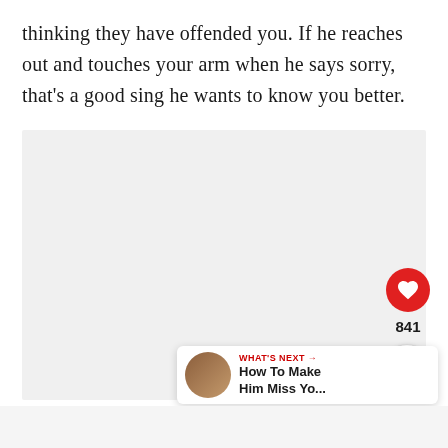thinking they have offended you. If he reaches out and touches your arm when he says sorry, that's a good sing he wants to know you better.
[Figure (photo): Large light gray placeholder image area in the center of the page]
[Figure (screenshot): UI element: red heart/like button with count 841 and share button. 'What's Next' banner showing 'How To Make Him Miss Yo...' with avatar thumbnail.]